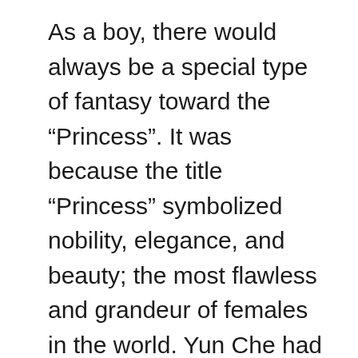As a boy, there would always be a special type of fantasy toward the “Princess”. It was because the title “Princess” symbolized nobility, elegance, and beauty; the most flawless and grandeur of females in the world. Yun Che had never at all expected, that Lan Xueruo was actually the Blue Moon Princess he had longed for and fantasized about countless times when he was young, just